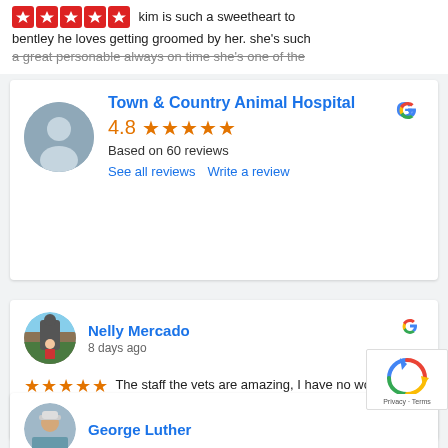kim is such a sweetheart to bentley he loves getting groomed by her. she's such a great personable always on time she's one of the
[Figure (screenshot): Google business listing card for Town & Country Animal Hospital showing 4.8 stars based on 60 reviews with See all reviews and Write a review links]
[Figure (screenshot): Google review card from Nelly Mercado posted 8 days ago with 5 stars: The staff the vets are amazing, I have no words to thank them for everything they do]
[Figure (screenshot): Partial Google review card showing George Luther reviewer avatar and name at bottom of page]
[Figure (logo): reCAPTCHA badge with Privacy and Terms links]